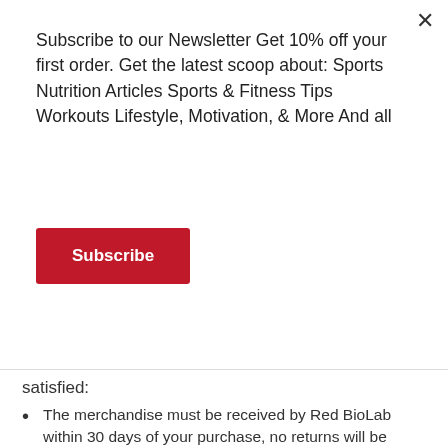Subscribe to our Newsletter Get 10% off your first order. Get the latest scoop about: Sports Nutrition Articles Sports & Fitness Tips Workouts Lifestyle, Motivation, & More And all
Subscribe
satisfied:
The merchandise must be received by Red BioLab within 30 days of your purchase, no returns will be accepted after this time period.
You must provide your Purchase Order number as received when your order was placed through the Site.
Apparel and Accessories: Apparel and accessories must be unworn, unwashed and in good condition with all original tags and labels attached to the item and in the original